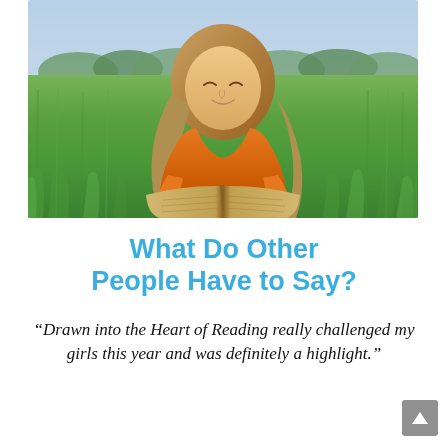[Figure (photo): A teenage girl in an orange shirt lying in a green grass field, smiling and reading an open book. Blue sky and distant trees visible in the background.]
What Do Other People Have to Say?
“Drawn into the Heart of Reading really challenged my girls this year and was definitely a highlight.”